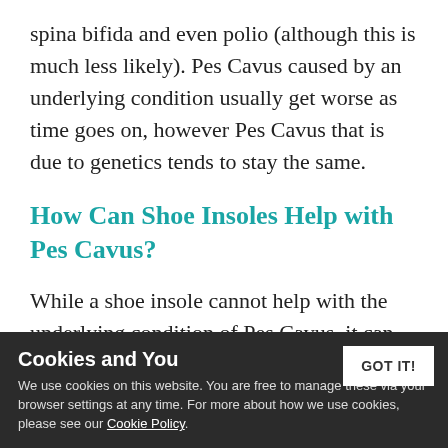spina bifida and even polio (although this is much less likely). Pes Cavus caused by an underlying condition usually get worse as time goes on, however Pes Cavus that is due to genetics tends to stay the same.
How Can Shoe Insoles Help with Pes Cavus?
While a shoe insole cannot help with the underlying condition of Pes Cavus, it can provide much needed pain relief. One of the ways it can do this is to give the arch proper support and protection. While can help prevent the corns and calluses that
Cookies and You
We use cookies on this website. You are free to manage these via your browser settings at any time. For more about how we use cookies, please see our Cookie Policy.